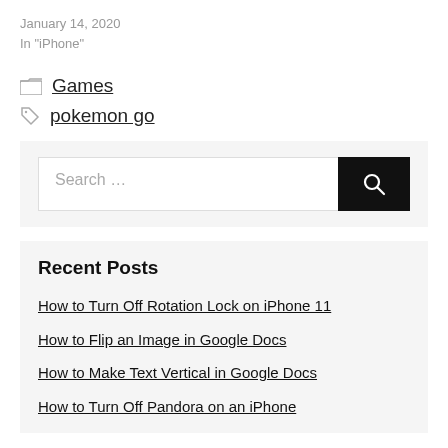January 14, 2020
In "iPhone"
Games
pokemon go
Search …
Recent Posts
How to Turn Off Rotation Lock on iPhone 11
How to Flip an Image in Google Docs
How to Make Text Vertical in Google Docs
How to Turn Off Pandora on an iPhone